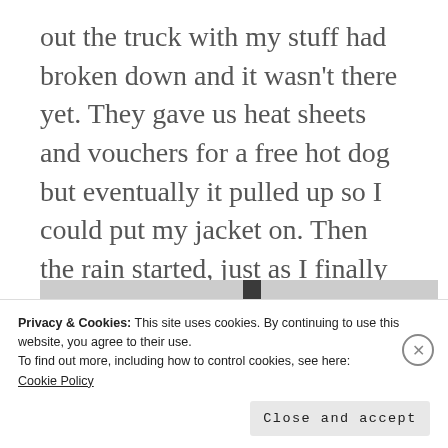out the truck with my stuff had broken down and it wasn't there yet. They gave us heat sheets and vouchers for a free hot dog but eventually it pulled up so I could put my jacket on. Then the rain started, just as I finally pulled up to our club's beach picnic.
[Figure (photo): A grey overcast sky with utility poles and power line structures visible against the cloudy background. A tall dark rectangular pole or column is prominent in the center.]
Privacy & Cookies: This site uses cookies. By continuing to use this website, you agree to their use.
To find out more, including how to control cookies, see here:
Cookie Policy